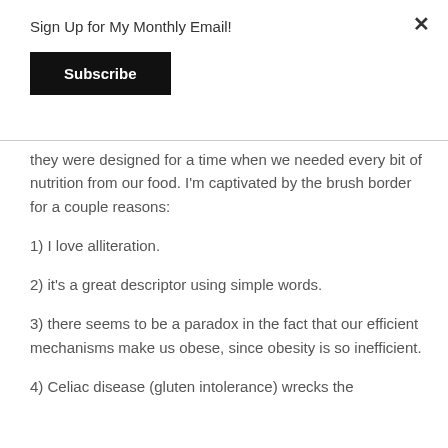Sign Up for My Monthly Email!
Subscribe
they were designed for a time when we needed every bit of nutrition from our food. I'm captivated by the brush border for a couple reasons:
1) I love alliteration.
2) it's a great descriptor using simple words.
3) there seems to be a paradox in the fact that our efficient mechanisms make us obese, since obesity is so inefficient.
4) Celiac disease (gluten intolerance) wrecks the